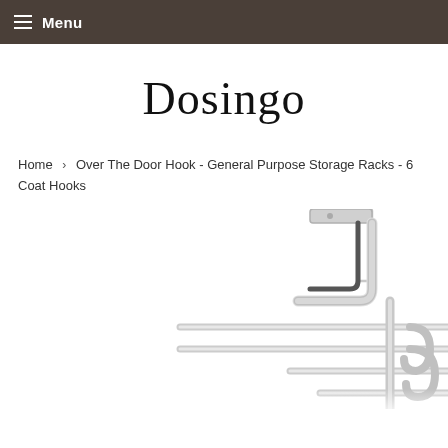≡ Menu
Dosingo
Home › Over The Door Hook - General Purpose Storage Racks - 6 Coat Hooks
[Figure (photo): Chrome over-the-door coat hook rack with multiple hooks, showing the door-mounting bracket at the top and a wire rack with hooks below]